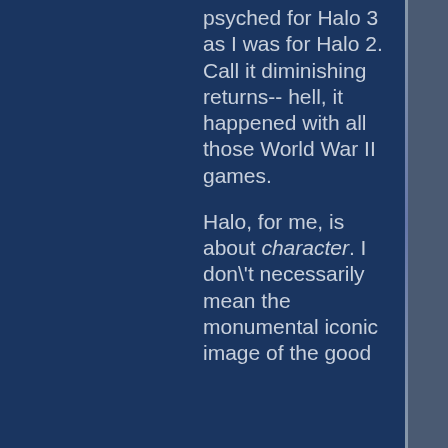psyched for Halo 3 as I was for Halo 2. Call it diminishing returns-- hell, it happened with all those World War II games.

Halo, for me, is about character. I don't necessarily mean the monumental iconic image of the good